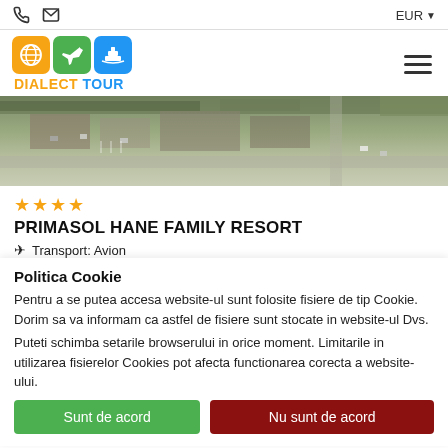EUR
[Figure (logo): Dialect Tour logo with orange globe, green plane, blue cruise ship icons and text DIALECT TOUR]
[Figure (photo): Aerial view of Primasol Hane Family Resort hotel grounds]
★★★★
PRIMASOL HANE FAMILY RESORT
✈ Transport: Avion
Antalya - Turcia
27.08.2020
2 persoane / 7 nopti
Politica Cookie
Pentru a se putea accesa website-ul sunt folosite fisiere de tip Cookie. Dorim sa va informam ca astfel de fisiere sunt stocate in website-ul Dvs.
Puteti schimba setarile browserului in orice moment. Limitarile in utilizarea fisierelor Cookies pot afecta functionarea corecta a website-ului.
Sunt de acord
Nu sunt de acord